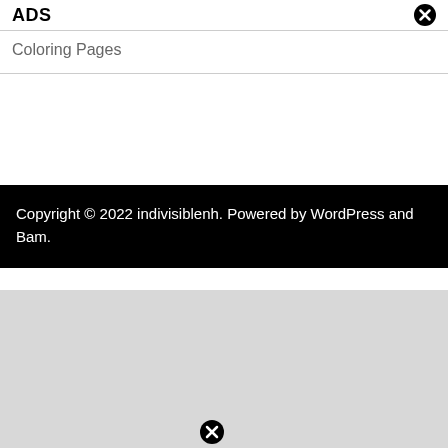ADS
Coloring Pages
Copyright © 2022 indivisiblenh. Powered by WordPress and Bam.
[Figure (screenshot): Gray section at bottom with faint text and a close button icon]